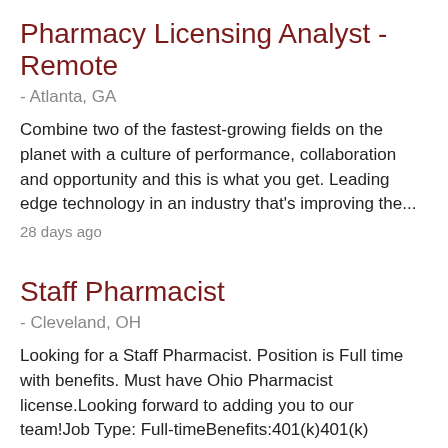Pharmacy Licensing Analyst - Remote
- Atlanta, GA
Combine two of the fastest-growing fields on the planet with a culture of performance, collaboration and opportunity and this is what you get. Leading edge technology in an industry that's improving the...
28 days ago
Staff Pharmacist
- Cleveland, OH
Looking for a Staff Pharmacist. Position is Full time with benefits. Must have Ohio Pharmacist license.Looking forward to adding you to our team!Job Type: Full-timeBenefits:401(k)401(k) matchingHealth...
28 days ago